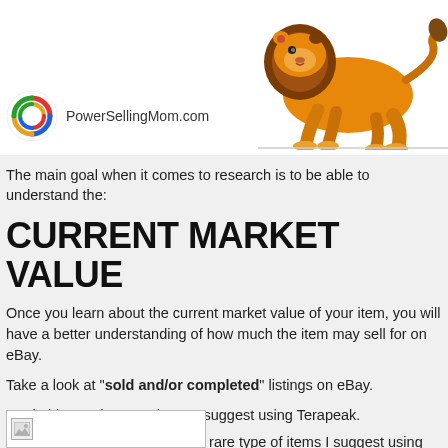[Figure (illustration): Cartoon lion crouching/prowling, orange with dark mane, positioned top-right of page]
[Figure (logo): PowerSellingMom.com logo: circular swirl icon in red/blue/orange/green with text 'PowerSellingMom.com']
The main goal when it comes to research is to be able to understand the:
CURRENT MARKET VALUE
Once you learn about the current market value of your item, you will have a better understanding of how much the item may sell for on eBay.
Take a look at "sold and/or completed" listings on eBay.
2. Clothing and current items I suggest using Terapeak.
3. Antiques, Collectibles and/or rare type of items I suggest using Worthpoint.
[Figure (other): Broken/placeholder image icon at bottom of page]